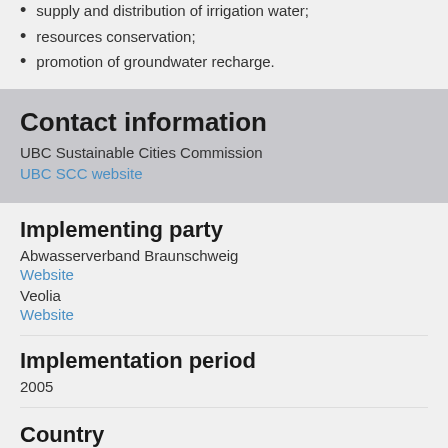supply and distribution of irrigation water;
resources conservation;
promotion of groundwater recharge.
Contact information
UBC Sustainable Cities Commission
UBC SCC website
Implementing party
Abwasserverband Braunschweig
Website
Veolia
Website
Implementation period
2005
Country